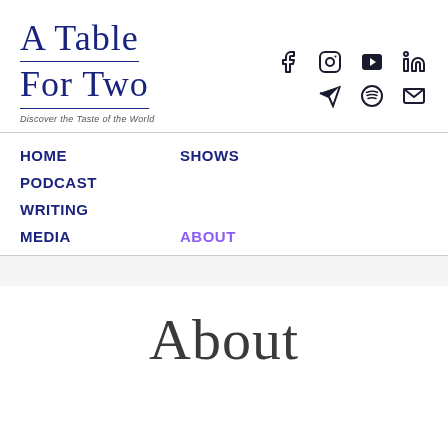[Figure (logo): A Table For Two logo with tagline 'Discover the Taste of the World' in dark blue serif font with underlines]
[Figure (infographic): Social media icons row 1: Facebook, Instagram, YouTube, LinkedIn; row 2: Telegram/send, Spotify, Email/envelope]
HOME
SHOWS
PODCAST
WRITING
MEDIA
ABOUT
About